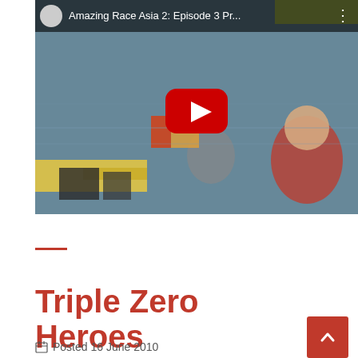[Figure (screenshot): YouTube video thumbnail showing people in water with kayaks/boats. Top bar shows YouTube icon, video title 'Amazing Race Asia 2: Episode 3 Pr...' and a vertical dots menu. A red YouTube play button is centered on the image.]
Triple Zero Heroes
Posted 16 June 2010